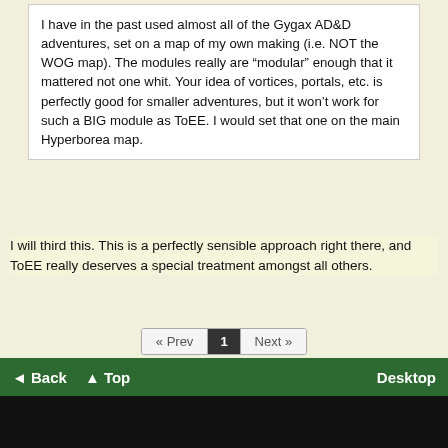I have in the past used almost all of the Gygax AD&D adventures, set on a map of my own making (i.e. NOT the WOG map). The modules really are “modular” enough that it mattered not one whit. Your idea of vortices, portals, etc. is perfectly good for smaller adventures, but it won’t work for such a BIG module as ToEE. I would set that one on the main Hyperborea map.
I will third this. This is a perfectly sensible approach right there, and ToEE really deserves a special treatment amongst all others.
« Prev  1  Next »
Reply To Topic
Click here to remove banner ads from this forum.
This Forum Is Hosted For FREE By ProBoards
Get Your Own Free Forum!
Terms of Service  Privacy  Cookies  FTC Disclosure  Report Abuse  Do Not Sell My Personal Information
◄ Back  ▲ Top  Desktop